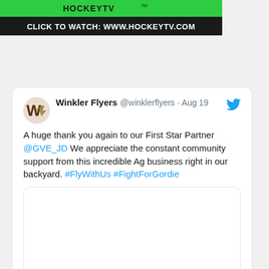[Figure (screenshot): HockeyTV banner with green logo bar and dark background click-to-watch text]
CLICK TO WATCH: WWW.HOCKEYTV.COM
[Figure (screenshot): Tweet from Winkler Flyers @winklerflyers on Aug 19: A huge thank you again to our First Star Partner @GVE_JD We appreciate the constant community support from this incredible Ag business right in our backyard. #FlyWithUs #FightForGordie. Includes embedded image placeholder. 5 likes.]